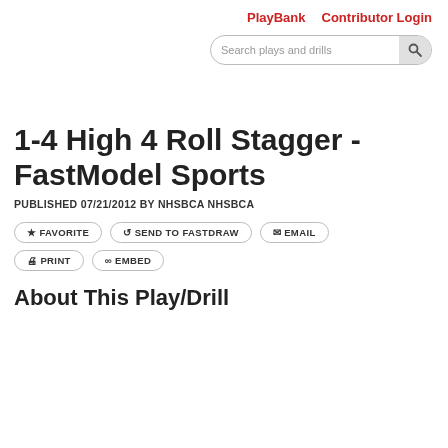PlayBank   Contributor Login
Search plays and drills
1-4 High 4 Roll Stagger - FastModel Sports
PUBLISHED 07/21/2012 BY NHSBCA NHSBCA
FAVORITE
SEND TO FASTDRAW
EMAIL
PRINT
EMBED
About This Play/Drill